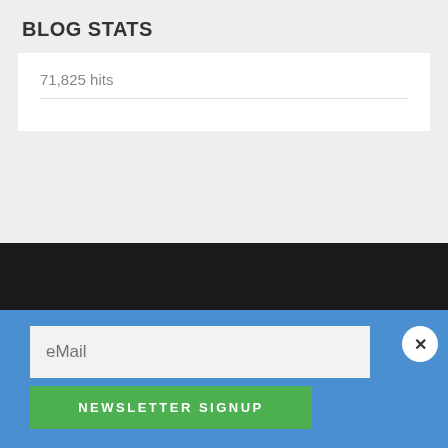BLOG STATS
71,825 hits
eMail
NEWSLETTER SIGNUP
By continuing, you accept this site's privacy policy